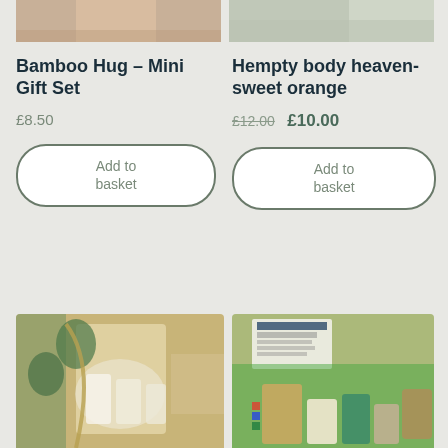[Figure (photo): Top of product photo for Bamboo Hug Mini Gift Set - partial view, cropped at top]
[Figure (photo): Top of product photo for Hempty body heaven sweet orange - partial view, cropped at top]
Bamboo Hug – Mini Gift Set
£8.50
Add to basket
Hempty body heaven- sweet orange
£12.00 £10.00
Add to basket
[Figure (photo): Product photo showing a woven/jute gift bag with white items and green plant]
[Figure (photo): Product photo showing a gift box with green tissue paper, Hempty branded products, bottles and accessories]